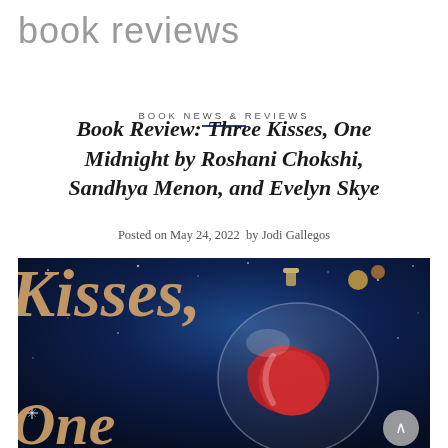book reviews
BOOK NEWS & REVIEWS
Book Review: Three Kisses, One Midnight by Roshani Chokshi, Sandhya Menon, and Evelyn Skye
Posted on May 24, 2022  by Jodi Gallegos
[Figure (photo): Book cover of 'Three Kisses, One Midnight' showing golden script text on a dark navy starry background with a decorative red and white glass Christmas ornament]